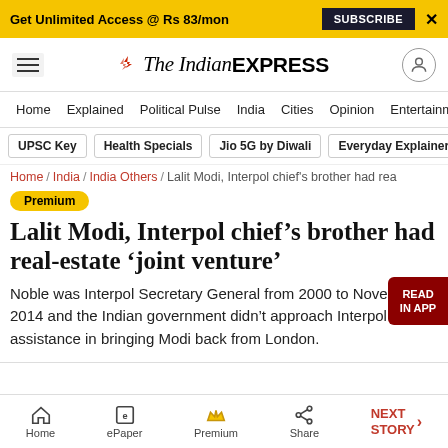Get Unlimited Access @ Rs 83/mon  SUBSCRIBE  X
[Figure (logo): The Indian Express logo with hamburger menu and user icon]
Home / Explained / Political Pulse / India / Cities / Opinion / Entertainment
UPSC Key | Health Specials | Jio 5G by Diwali | Everyday Explainers
Home / India / India Others / Lalit Modi, Interpol chief's brother had rea
Premium
Lalit Modi, Interpol chief's brother had real-estate 'joint venture'
Noble was Interpol Secretary General from 2000 to November 2014 and the Indian government didn't approach Interpol for assistance in bringing Modi back from London.
Home  ePaper  Premium  Share  NEXT STORY